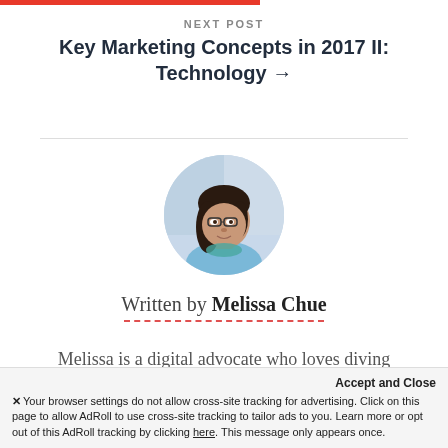NEXT POST
Key Marketing Concepts in 2017 II: Technology →
[Figure (photo): Circular portrait photo of Melissa Chue, a young woman with glasses and long dark hair, wearing a light blue top, photographed outdoors.]
Written by Melissa Chue
Melissa is a digital advocate who loves diving into the latest trends in digital and social
Accept and Close
✕ Your browser settings do not allow cross-site tracking for advertising. Click on this page to allow AdRoll to use cross-site tracking to tailor ads to you. Learn more or opt out of this AdRoll tracking by clicking here. This message only appears once.